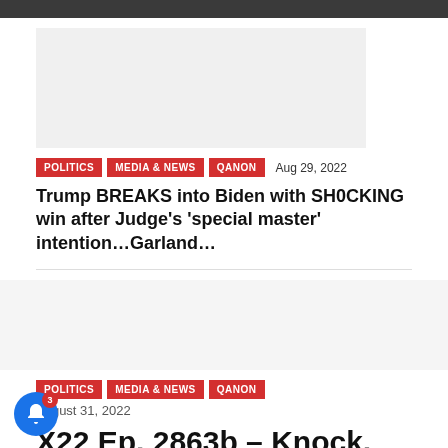[Figure (photo): Blank/placeholder image for article 1]
POLITICS   MEDIA & NEWS   QANON   Aug 29, 2022
Trump BREAKS into Biden with SH0CKING win after Judge's 'special master' intention…Garland…
[Figure (photo): Blank/placeholder image for article 2]
POLITICS   MEDIA & NEWS   QANON
August 31, 2022
X22 Ep. 2863b – Knock, Knock,The r Of All Doors Has Been Open,...